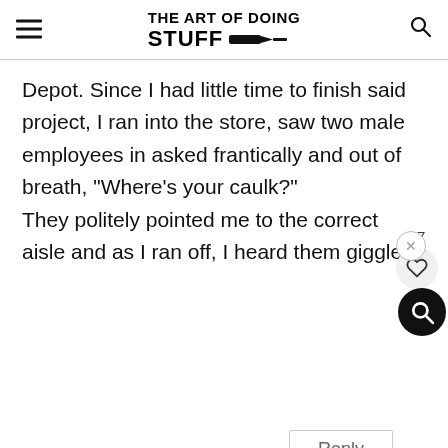THE ART OF DOING STUFF
Depot. Since I had little time to finish said project, I ran into the store, saw two male employees in asked frantically and out of breath, "Where's your caulk?"
They politely pointed me to the correct aisle and as I ran off, I heard them giggle.